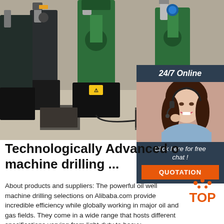[Figure (photo): Industrial oil well drilling machines (green and black) lined up in a factory/workshop floor]
[Figure (infographic): 24/7 Online chat widget with a woman wearing a headset, 'Click here for free chat!' text, and an orange QUOTATION button]
Technologically Advanced oil well machine drilling ...
[Figure (logo): Orange TOP logo with decorative dots above]
About products and suppliers: The powerful oil well machine drilling selections on Alibaba.com provide incredible efficiency while globally working in major oil and gas fields. They come in a wide range that hosts different specifications varying from light-duty to heavy-